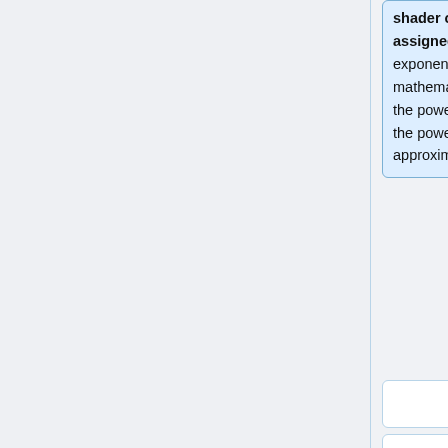shader or function nodes assigned to the Main input. The exponential value is the mathematical constant e raised to the power of the Input value i.e. e to the power of Input. e has a value of approximately 2.7182818.
For colours the calculation is done on a component-wise